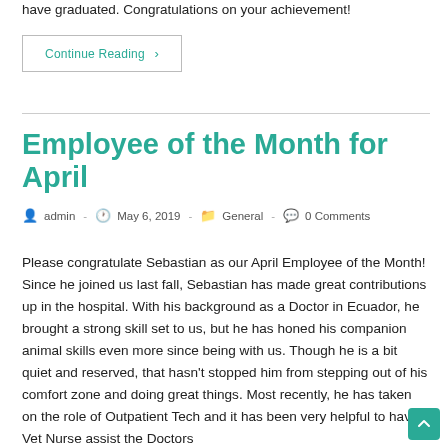have graduated. Congratulations on your achievement!
Continue Reading ›
Employee of the Month for April
admin · May 6, 2019 · General · 0 Comments
Please congratulate Sebastian as our April Employee of the Month! Since he joined us last fall, Sebastian has made great contributions up in the hospital. With his background as a Doctor in Ecuador, he brought a strong skill set to us, but he has honed his companion animal skills even more since being with us. Though he is a bit quiet and reserved, that hasn't stopped him from stepping out of his comfort zone and doing great things. Most recently, he has taken on the role of Outpatient Tech and it has been very helpful to have a Vet Nurse assist the Doctors